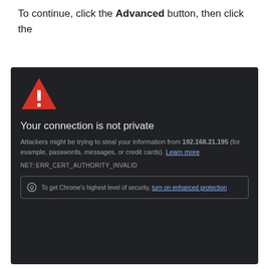To continue, click the Advanced button, then click the
[Figure (screenshot): Chrome browser warning page with dark background showing 'Your connection is not private' error. Includes a red triangle warning icon, description text about attackers, IP address 192.168.21.195, error code NET::ERR_CERT_AUTHORITY_INVALID, and a security suggestion box at the bottom.]